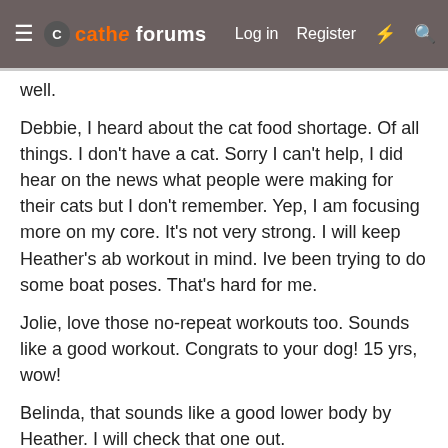cathe forums  Log in  Register
well.
Debbie, I heard about the cat food shortage. Of all things. I don't have a cat. Sorry I can't help, I did hear on the news what people were making for their cats but I don't remember. Yep, I am focusing more on my core. It's not very strong. I will keep Heather's ab workout in mind. Ive been trying to do some boat poses. That's hard for me.
Jolie, love those no-repeat workouts too. Sounds like a good workout. Congrats to your dog! 15 yrs, wow!
Belinda, that sounds like a good lower body by Heather. I will check that one out.
Roselyn, hope you feel better.
Goodnight!